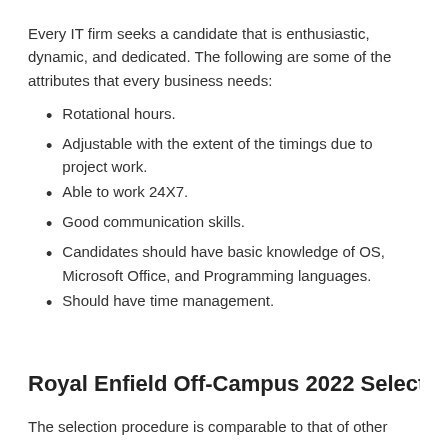Every IT firm seeks a candidate that is enthusiastic, dynamic, and dedicated. The following are some of the attributes that every business needs:
Rotational hours.
Adjustable with the extent of the timings due to project work.
Able to work 24X7.
Good communication skills.
Candidates should have basic knowledge of OS, Microsoft Office, and Programming languages.
Should have time management.
Royal Enfield Off-Campus 2022 Selection
The selection procedure is comparable to that of other